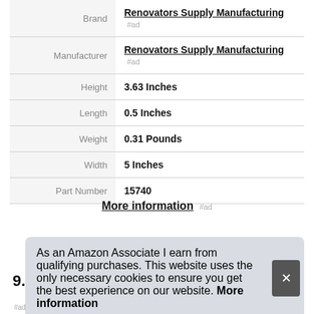| Attribute | Value |
| --- | --- |
| Brand | Renovators Supply Manufacturing #ad |
| Manufacturer | Renovators Supply Manufacturing #ad |
| Height | 3.63 Inches |
| Length | 0.5 Inches |
| Weight | 0.31 Pounds |
| Width | 5 Inches |
| Part Number | 15740 |
More information #ad
As an Amazon Associate I earn from qualifying purchases. This website uses the only necessary cookies to ensure you get the best experience on our website. More information
9.
#ad